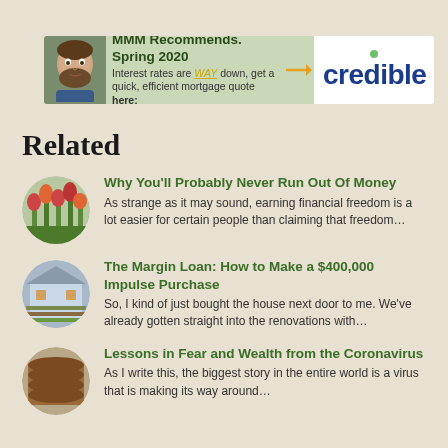[Figure (infographic): MMM Recommends Spring 2020 banner ad for Credible mortgage quotes with a man's face, text about interest rates being WAY down, an arrow, and the Credible logo]
Related
[Figure (photo): Round thumbnail of colorful flowers/plants]
Why You'll Probably Never Run Out Of Money
As strange as it may sound, earning financial freedom is a lot easier for certain people than claiming that freedom…
[Figure (photo): Round thumbnail of a building/house with garden rows]
The Margin Loan: How to Make a $400,000 Impulse Purchase
So, I kind of just bought the house next door to me. We've already gotten straight into the renovations with…
[Figure (photo): Round thumbnail of stacked logs/wood]
Lessons in Fear and Wealth from the Coronavirus
As I write this, the biggest story in the entire world is a virus that is making its way around…